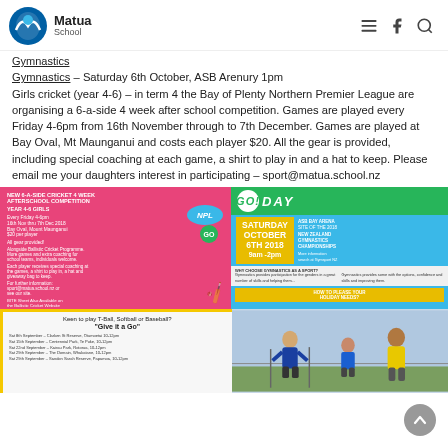Matua School
Gymnastics – Saturday 6th October, ASB Arenury 1pm
Girls cricket (year 4-6) – in term 4 the Bay of Plenty Northern Premier League are organising a 6-a-side 4 week after school competition. Games are played every Friday 4-6pm from 16th November through to 7th December. Games are played at Bay Oval, Mt Maunganui and costs each player $20. All the gear is provided, including special coaching at each game, a shirt to play in and a hat to keep. Please email me your daughters interest in participating – sport@matua.school.nz
[Figure (infographic): Pink flyer for NZ 6-a-side cricket 4 week afterschool competition for Year 4-6 Girls with NPL logo]
[Figure (infographic): Blue GO DAY flyer for Saturday October 6th 2018 ASB Bay Arena NZ Gymnastics Championships 9am-2pm]
[Figure (infographic): Yellow flyer: Keen to play T-Ball, Softball or Baseball? Give it a Go with schedule of dates and venues]
[Figure (photo): Photo of children playing sport outdoors with a coach]